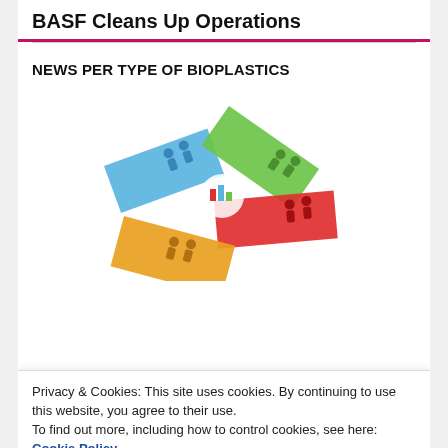BASF Cleans Up Operations
NEWS PER TYPE OF BIOPLASTICS
[Figure (illustration): 3D illustration of colorful arrows (blue, green, red, orange) pointing in different directions with small human figure icons on each arrow, arranged in a circular pattern around a central point.]
Privacy & Cookies: This site uses cookies. By continuing to use this website, you agree to their use.
To find out more, including how to control cookies, see here: Cookie Policy
BIOPLASTIC IN INDIA
[Figure (other): Orange/amber colored image block at bottom of page]